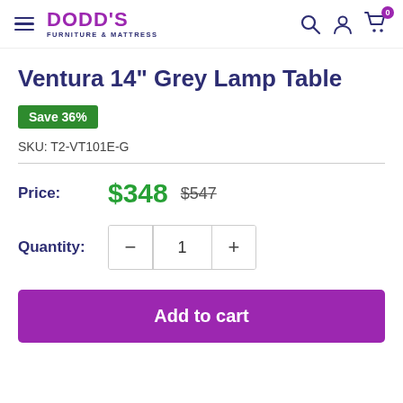DODD'S FURNITURE & MATTRESS
Ventura 14" Grey Lamp Table
Save 36%
SKU: T2-VT101E-G
Price: $348  $547
Quantity: 1
Add to cart